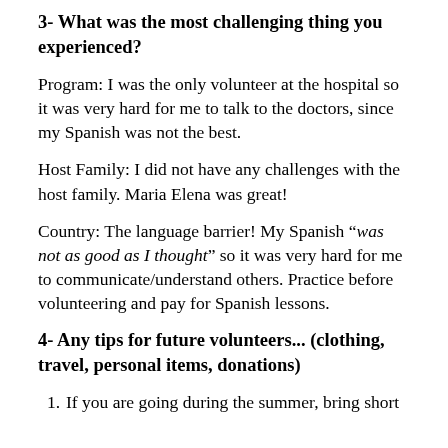3- What was the most challenging thing you experienced?
Program: I was the only volunteer at the hospital so it was very hard for me to talk to the doctors, since my Spanish was not the best.
Host Family: I did not have any challenges with the host family. Maria Elena was great!
Country: The language barrier! My Spanish “was not as good as I thought” so it was very hard for me to communicate/understand others. Practice before volunteering and pay for Spanish lessons.
4- Any tips for future volunteers... (clothing, travel, personal items, donations)
1. If you are going during the summer, bring short